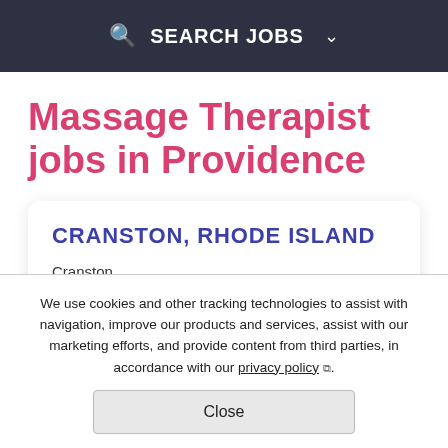SEARCH JOBS
Massage Therapist jobs in Providence
CRANSTON, RHODE ISLAND
Cranston
Regular Part-Time
We use cookies and other tracking technologies to assist with navigation, improve our products and services, assist with our marketing efforts, and provide content from third parties, in accordance with our privacy policy ⧉.
Close